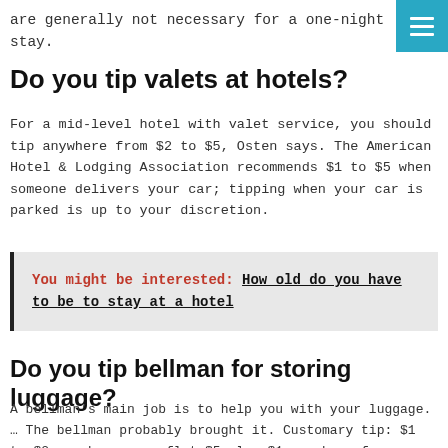are generally not necessary for a one-night stay.
Do you tip valets at hotels?
For a mid-level hotel with valet service, you should tip anywhere from $2 to $5, Osten says. The American Hotel & Lodging Association recommends $1 to $5 when someone delivers your car; tipping when your car is parked is up to your discretion.
You might be interested: How old do you have to be to stay at a hotel
Do you tip bellman for storing luggage?
A bellman’s main job is to help you with your luggage. … The bellman probably brought it. Customary tip: $1 to $2 per bag, or a flat $5 plus $1 per bag, for storing bags or taking them to your